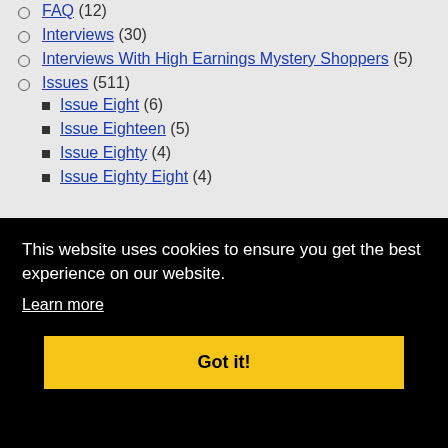FAQ (12)
Interviews (30)
Interviews With High Earnings Mystery Shoppers (5)
Issues (511)
Issue Eight (6)
Issue Eighteen (5)
Issue Eighty (4)
Issue Eighty Eight (4)
This website uses cookies to ensure you get the best experience on our website.
Learn more
Got it!
Issue Eighty Two (4)